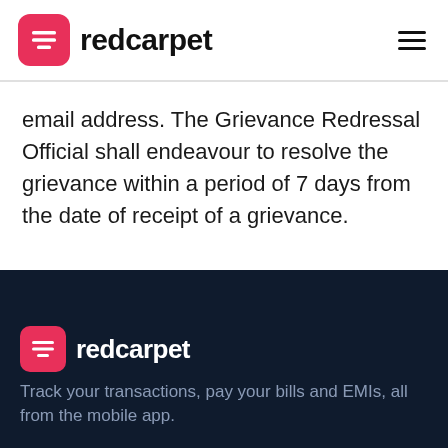redcarpet
email address. The Grievance Redressal Official shall endeavour to resolve the grievance within a period of 7 days from the date of receipt of a grievance.
redcarpet — Track your transactions, pay your bills and EMIs, all from the mobile app.